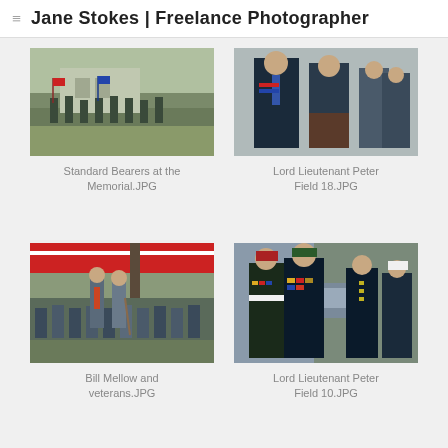Jane Stokes | Freelance Photographer
[Figure (photo): Standard bearers gathered at a memorial outdoor ceremony]
Standard Bearers at the Memorial.JPG
[Figure (photo): Lord Lieutenant Peter Field in formal military/official dress uniform]
Lord Lieutenant Peter Field 18.JPG
[Figure (photo): Bill Mellow and veterans seated and standing outdoors at a gathering]
Bill Mellow and veterans.JPG
[Figure (photo): Lord Lieutenant Peter Field 10 in military uniform with medals conversing with naval officers]
Lord Lieutenant Peter Field 10.JPG